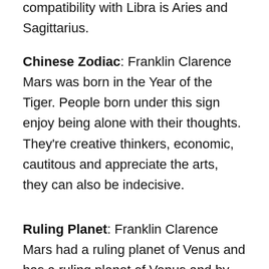compatibility with Libra is Aries and Sagittarius.
Chinese Zodiac: Franklin Clarence Mars was born in the Year of the Tiger. People born under this sign enjoy being alone with their thoughts. They're creative thinkers, economic, cautitous and appreciate the arts, they can also be indecisive.
Ruling Planet: Franklin Clarence Mars had a ruling planet of Venus and has a ruling planet of Venus and by astrological associations